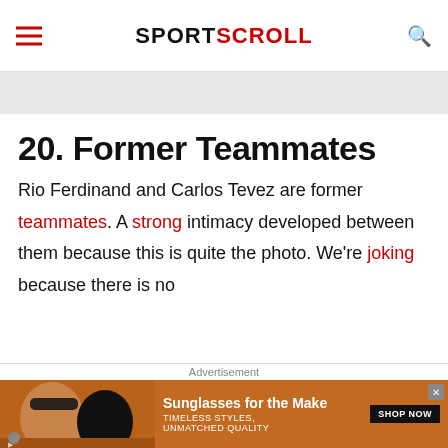SPORTSCROLL
20. Former Teammates
Rio Ferdinand and Carlos Tevez are former teammates. A strong intimacy developed between them because this is quite the photo. We’re joking because there is no
[Figure (other): Advertisement banner showing two women wearing sunglasses with text 'Sunglasses for the Make' and 'TIMELESS STYLES, UNMATCHED QUALITY' with a SHOP NOW button]